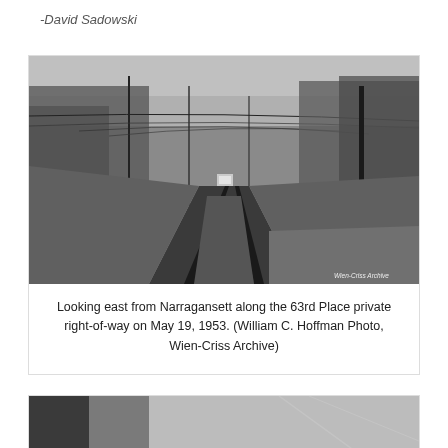-David Sadowski
[Figure (photo): Black and white photograph looking east from Narragansett along the 63rd Place private right-of-way on May 19, 1953. Shows streetcar tracks receding into the distance with utility poles and overhead wires, trees on both sides, and a streetcar visible in the far distance. Watermark reads 'Wien-Criss Archive'.]
Looking east from Narragansett along the 63rd Place private right-of-way on May 19, 1953. (William C. Hoffman Photo, Wien-Criss Archive)
[Figure (photo): Partial black and white photograph visible at bottom of page, cropped.]